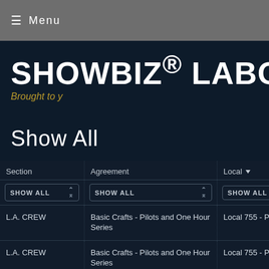≡ Menu
SHOWBIZ® LABO
Brought to y
Show All
| Section | Agreement | Local ▼ |
| --- | --- | --- |
| SHOW ALL | SHOW ALL | SHOW ALL |
| L.A. CREW | Basic Crafts - Pilots and One Hour Series | Local 755 - Plastere |
| L.A. CREW | Basic Crafts - Pilots and One Hour Series | Local 755 - Plastere |
| L.A. CREW | Teamsters Long-Form/DVD/Low Budget | Local 399 - Drivers |